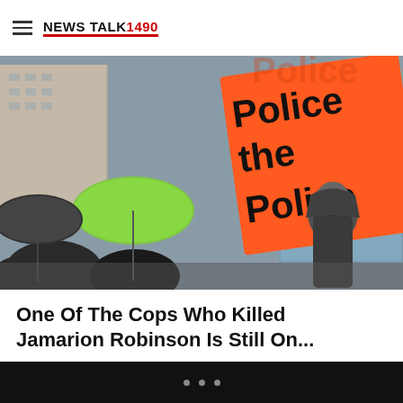NEWS TALK 1490
[Figure (photo): Protest scene with people holding an orange sign reading 'Police the Police', green umbrella visible, masked person in hoodie on right, rainy urban environment]
One Of The Cops Who Killed Jamarion Robinson Is Still On...
[Figure (photo): Dark image with gold text spelling 'BLACK' partially visible, orange background tones, silhouette of a person]